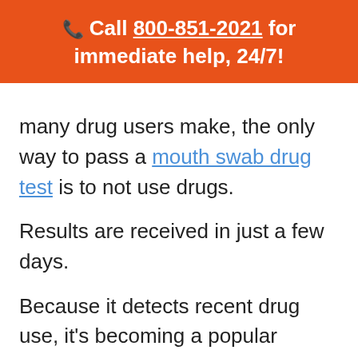Call 800-851-2021 for immediate help, 24/7!
many drug users make, the only way to pass a mouth swab drug test is to not use drugs.
Results are received in just a few days.
Because it detects recent drug use, it's becoming a popular option for rand drug testing. In fact, the HHS (The